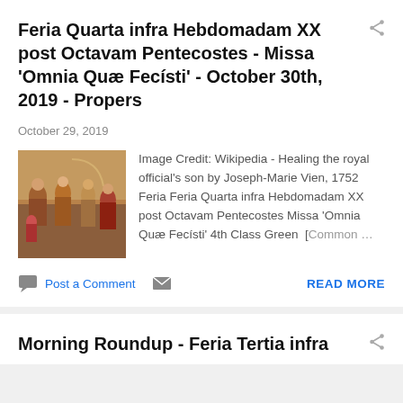Feria Quarta infra Hebdomadam XX post Octavam Pentecostes - Missa 'Omnia Quæ Fecísti' - October 30th, 2019 - Propers
October 29, 2019
[Figure (illustration): Painting of healing the royal official's son, religious scene with figures in robes]
Image Credit: Wikipedia - Healing the royal official's son by Joseph-Marie Vien, 1752 Feria Feria Quarta infra Hebdomadam XX post Octavam Pentecostes Missa 'Omnia Quæ Fecísti' 4th Class Green  [Common ...
Post a Comment
READ MORE
Morning Roundup - Feria Tertia infra